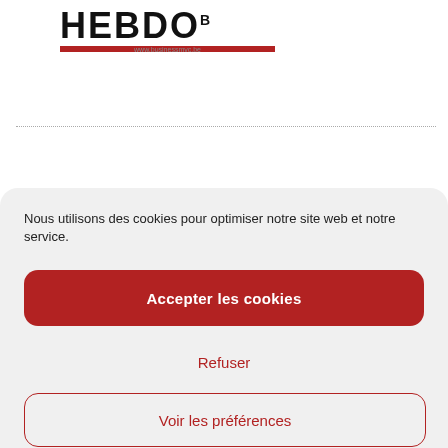[Figure (logo): HEBDO logo with superscript 'B', red underline bar and website URL]
Nous utilisons des cookies pour optimiser notre site web et notre service.
Accepter les cookies
Refuser
Voir les préférences